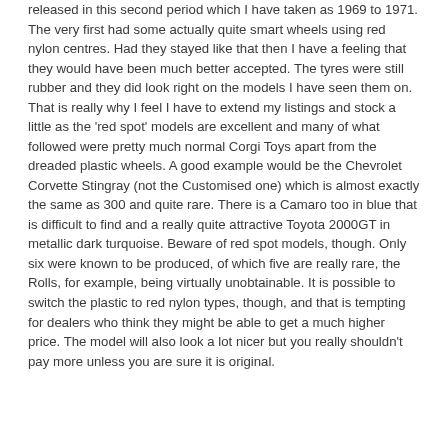released in this second period which I have taken as 1969 to 1971. The very first had some actually quite smart wheels using red nylon centres. Had they stayed like that then I have a feeling that they would have been much better accepted. The tyres were still rubber and they did look right on the models I have seen them on. That is really why I feel I have to extend my listings and stock a little as the 'red spot' models are excellent and many of what followed were pretty much normal Corgi Toys apart from the dreaded plastic wheels. A good example would be the Chevrolet Corvette Stingray (not the Customised one) which is almost exactly the same as 300 and quite rare. There is a Camaro too in blue that is difficult to find and a really quite attractive Toyota 2000GT in metallic dark turquoise. Beware of red spot models, though. Only six were known to be produced, of which five are really rare, the Rolls, for example, being virtually unobtainable. It is possible to switch the plastic to red nylon types, though, and that is tempting for dealers who think they might be able to get a much higher price. The model will also look a lot nicer but you really shouldn't pay more unless you are sure it is original.